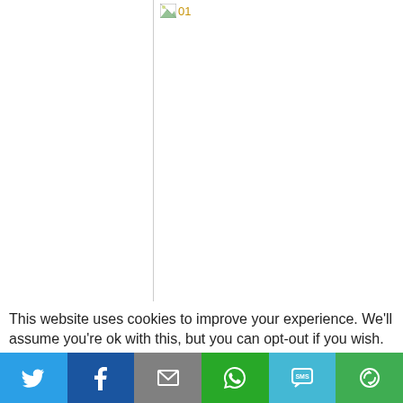[Figure (other): Broken image placeholder showing small broken image icon with '01' text label, on a white page with a vertical gray line on the left side]
This website uses cookies to improve your experience. We'll assume you're ok with this, but you can opt-out if you wish.
[Figure (other): Social sharing toolbar with six buttons: Twitter (blue bird icon), Facebook (dark blue F icon), Email (gray envelope icon), WhatsApp (green speech bubble icon), SMS (light blue SMS icon), Other (green circular arrow icon)]